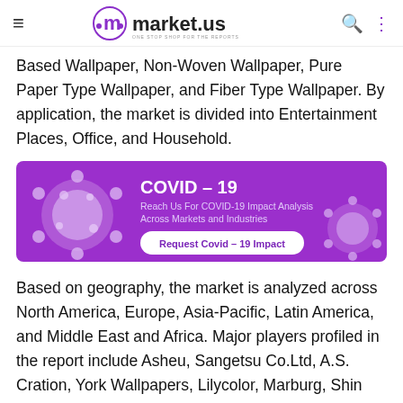market.us — ONE STOP SHOP FOR THE REPORTS
Based Wallpaper, Non-Woven Wallpaper, Pure Paper Type Wallpaper, and Fiber Type Wallpaper. By application, the market is divided into Entertainment Places, Office, and Household.
[Figure (infographic): COVID-19 banner with purple background showing coronavirus graphic, text 'COVID – 19 Reach Us For COVID-19 Impact Analysis Across Markets and Industries' and a button 'Request Covid – 19 Impact']
Based on geography, the market is analyzed across North America, Europe, Asia-Pacific, Latin America, and Middle East and Africa. Major players profiled in the report include Asheu, Sangetsu Co.Ltd, A.S. Cration, York Wallpapers, Lilycolor, Marburg, Shin Han Wall Covering, Zambaiti Parati, Brewster Home Fashions, Walker Greenbank Group, LSI Wallcovering, J.Josephson, Len-Tex